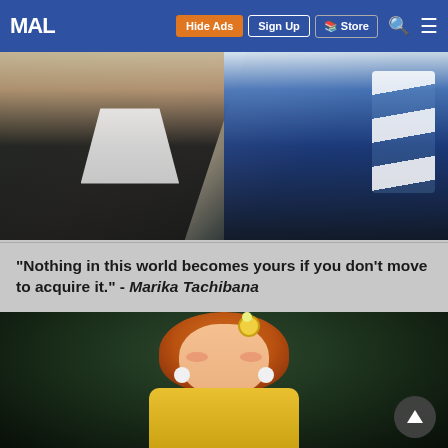MAL | Hide Ads | Sign Up | Store
[Figure (screenshot): Anime screenshot showing two characters - one with brown/dark outfit on left, one with blue striped outfit on right, green background]
“Nothing in this world becomes yours if you don't move to acquire it.” - Marika Tachibana
[Figure (screenshot): Anime screenshot of a girl character with orange hair, yellow flower accessory, wearing a yellow kimono, eyes closed and smiling, dark green background. A scroll-to-top button is visible in the bottom right.]